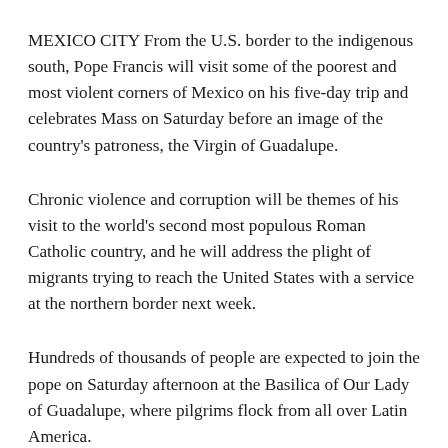MEXICO CITY From the U.S. border to the indigenous south, Pope Francis will visit some of the poorest and most violent corners of Mexico on his five-day trip and celebrates Mass on Saturday before an image of the country's patroness, the Virgin of Guadalupe.
Chronic violence and corruption will be themes of his visit to the world's second most populous Roman Catholic country, and he will address the plight of migrants trying to reach the United States with a service at the northern border next week.
Hundreds of thousands of people are expected to join the pope on Saturday afternoon at the Basilica of Our Lady of Guadalupe, where pilgrims flock from all over Latin America.